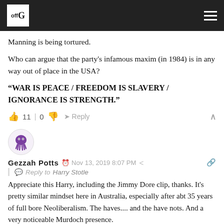offG [logo] [hamburger menu]
Manning is being tortured.
Who can argue that the party's infamous maxim (in 1984) is in any way out of place in the USA?
“WAR IS PEACE / FREEDOM IS SLAVERY / IGNORANCE IS STRENGTH.”
👍 11 | 0 👎  ➤ Reply  ∧
[Figure (illustration): User avatar for Gezzah Potts - circular avatar with purple octopus/squid illustration]
Gezzah Potts  🕐 Nov 13, 2019 8:07 PM  🔗
Reply to Harry Stotle
Appreciate this Harry, including the Jimmy Dore clip, thanks. It's pretty similar mindset here in Australia, especially after abt 35 years of full bore Neoliberalism. The haves.... and the have nots. And a very noticeable Murdoch presence.